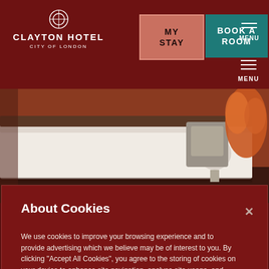CLAYTON HOTEL CITY OF LONDON
[Figure (screenshot): Hotel room photo showing a large white bed, chair, side table, and orange flower arrangement]
About Cookies
We use cookies to improve your browsing experience and to provide advertising which we believe may be of interest to you. By clicking "Accept All Cookies", you agree to the storing of cookies on your device to enhance site navigation, analyse site usage, and assist in our marketing efforts. Cookie Policy
Cookies Settings
Accept All Cookies